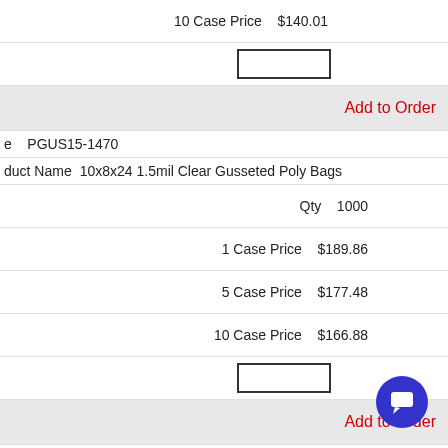10 Case Price  $140.01
[input box]
Add to Order
e  PGUS15-1470
duct Name  10x8x24 1.5mil Clear Gusseted Poly Bags
Qty  1000
1 Case Price  $189.86
5 Case Price  $177.48
10 Case Price  $166.88
[input box]
Add to Order
e  PGUS15-1475
duct Name  12x8x24 1.5mil Clear Gusseted Poly Bags
Qty  500
1 Case Price  $103.65
5 Case Price  $96.93